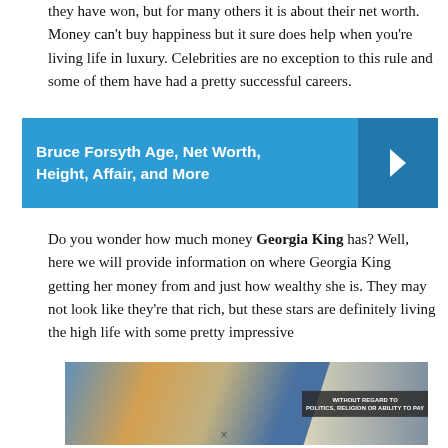they have won, but for many others it is about their net worth. Money can't buy happiness but it sure does help when you're living life in luxury. Celebrities are no exception to this rule and some of them have had a pretty successful careers.
[Figure (infographic): Blue banner with text 'Bruce Forsyth Age, Net Worth, Height, Affair, and More' and a right-arrow chevron on the right side]
Do you wonder how much money Georgia King has? Well, here we will provide information on where Georgia King getting her money from and just how wealthy she is. They may not look like they're that rich, but these stars are definitely living the high life with some pretty impressive
[Figure (photo): Advertisement image showing cargo being loaded onto a colorful aircraft. Dark overlay on right reads 'WITHOUT REGARD TO POLITICS, RELIGION OR ABILITY TO PAY'.]
×